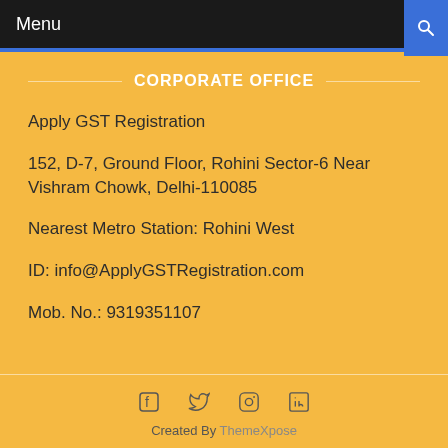Menu
CORPORATE OFFICE
Apply GST Registration
152, D-7, Ground Floor, Rohini Sector-6 Near Vishram Chowk, Delhi-110085
Nearest Metro Station: Rohini West
ID: info@ApplyGSTRegistration.com
Mob. No.: 9319351107
Created By ThemeXpose